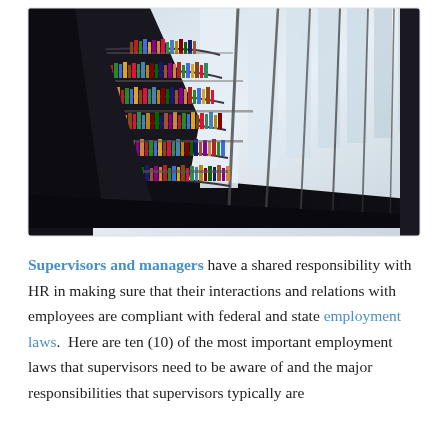[Figure (photo): Interior photo of a large circular library with curved bookshelves stacked high with colorful books, viewed from below looking up, with a glass ceiling letting in daylight and metal railings visible.]
Supervisors and managers have a shared responsibility with HR in making sure that their interactions and relations with employees are compliant with federal and state employment laws. Here are ten (10) of the most important employment laws that supervisors need to be aware of and the major responsibilities that supervisors typically are